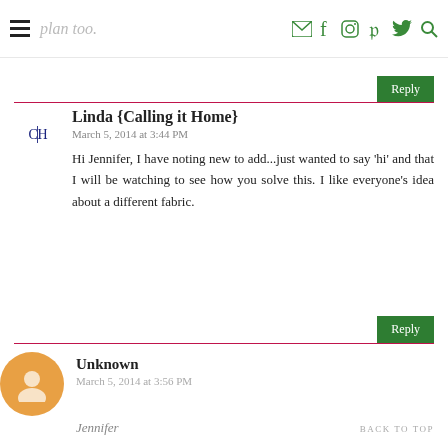plan too.
Linda {Calling it Home}
March 5, 2014 at 3:44 PM
Hi Jennifer, I have noting new to add...just wanted to say 'hi' and that I will be watching to see how you solve this. I like everyone's idea about a different fabric.
Unknown
March 5, 2014 at 3:56 PM
Jennifer